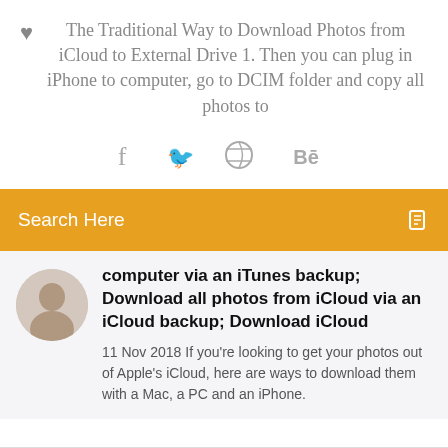The Traditional Way to Download Photos from iCloud to External Drive 1. Then you can plug in iPhone to computer, go to DCIM folder and copy all photos to
[Figure (infographic): Social share icons: Facebook, Twitter, Dribbble, Behance]
Search Here
computer via an iTunes backup; Download all photos from iCloud via an iCloud backup; Download iCloud
11 Nov 2018 If you're looking to get your photos out of Apple's iCloud, here are ways to download them with a Mac, a PC and an iPhone.